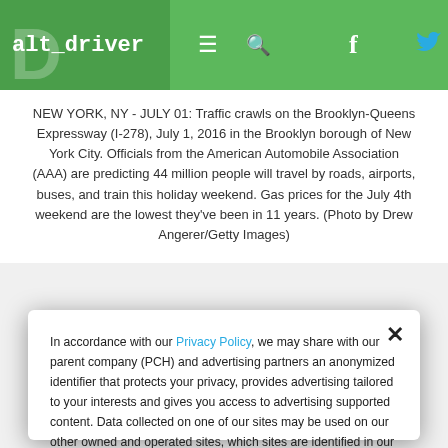alt_driver
NEW YORK, NY - JULY 01: Traffic crawls on the Brooklyn-Queens Expressway (I-278), July 1, 2016 in the Brooklyn borough of New York City. Officials from the American Automobile Association (AAA) are predicting 44 million people will travel by roads, airports, buses, and train this holiday weekend. Gas prices for the July 4th weekend are the lowest they've been in 11 years. (Photo by Drew Angerer/Getty Images)
ADVERTISEMENT
In accordance with our Privacy Policy, we may share with our parent company (PCH) and advertising partners an anonymized identifier that protects your privacy, provides advertising tailored to your interests and gives you access to advertising supported content. Data collected on one of our sites may be used on our other owned and operated sites, which sites are identified in our Privacy Policy. All of our sites are governed by the same Privacy Policy, and by proceeding to access this site, you are consenting to that Privacy Policy.